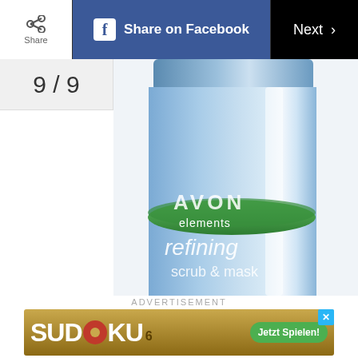Share on Facebook | Next
9/9
[Figure (photo): Avon Elements Refining Scrub & Mask product tube in light blue color with green leaf logo design]
ADVERTISEMENT
[Figure (screenshot): SUDOKU advertisement banner with Jetzt Spielen button]